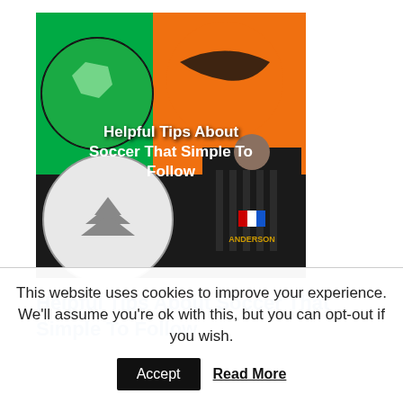[Figure (photo): Soccer balls and a player in a dark jersey, with overlaid white bold text reading 'Helpful Tips About Soccer That Simple To Follow']
Helpful Tips About Soccer That Simple To Follow
NEW NIKE Brazil Home Soccer Football Jersey Shirt World Cup 2014 M DRI-FIT
JALISCO HAT KHAKI BLACK GORRA DE PALMA Y
This website uses cookies to improve your experience. We'll assume you're ok with this, but you can opt-out if you wish.
Accept  Read More